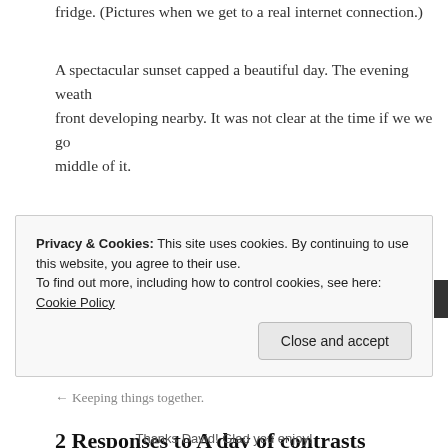fridge. (Pictures when we get to a real internet connection.)
A spectacular sunset capped a beautiful day. The evening weather front developing nearby. It was not clear at the time if we we go middle of it.
Now, at about 2AM, we know. The last couple of hours have be and buckets of rain. On the bright side we are moving fast! Hop long.
This entry was posted in Underway. Bookmark the permalink.
← Keeping things together.
2 Responses to A day of contrasts
Privacy & Cookies: This site uses cookies. By continuing to use this website, you agree to their use.
To find out more, including how to control cookies, see here: Cookie Policy
Close and accept
Thanks David! Glad you enjoy!